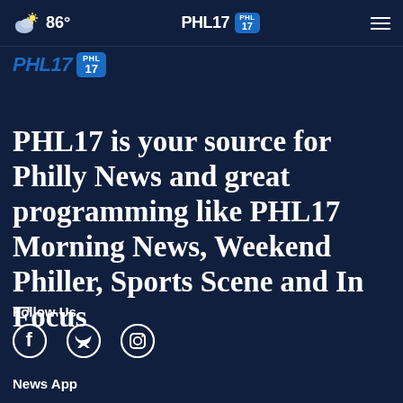86° PHL17
[Figure (logo): PHL17 secondary logo with blue badge]
PHL17 is your source for Philly News and great programming like PHL17 Morning News, Weekend Philler, Sports Scene and In Focus
Follow Us
[Figure (illustration): Social media icons: Facebook, Twitter, Instagram]
News App